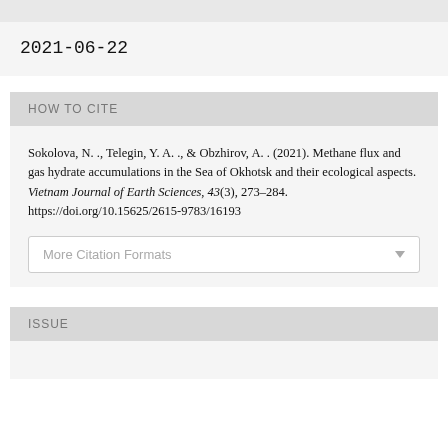2021-06-22
HOW TO CITE
Sokolova, N. ., Telegin, Y. A. ., & Obzhirov, A. . (2021). Methane flux and gas hydrate accumulations in the Sea of Okhotsk and their ecological aspects. Vietnam Journal of Earth Sciences, 43(3), 273–284. https://doi.org/10.15625/2615-9783/16193
More Citation Formats
ISSUE